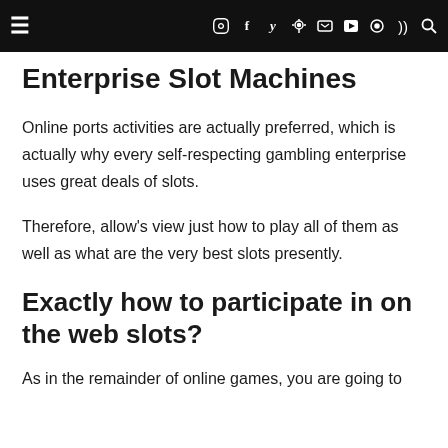≡   f  y  ⊙  ⊕  ⊡  ▶  ◉  )) 🔍
Enterprise Slot Machines
Online ports activities are actually preferred, which is actually why every self-respecting gambling enterprise uses great deals of slots.
Therefore, allow's view just how to play all of them as well as what are the very best slots presently.
Exactly how to participate in on the web slots?
As in the remainder of online games, you are going to